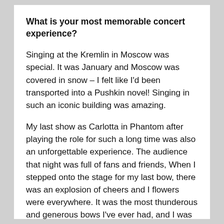What is your most memorable concert experience?
Singing at the Kremlin in Moscow was special. It was January and Moscow was covered in snow – I felt like I'd been transported into a Pushkin novel! Singing in such an iconic building was amazing.
My last show as Carlotta in Phantom after playing the role for such a long time was also an unforgettable experience. The audience that night was full of fans and friends, When I stepped onto the stage for my last bow, there was an explosion of cheers and I flowers were everywhere. It was the most thunderous and generous bows I've ever had, and I was overcome